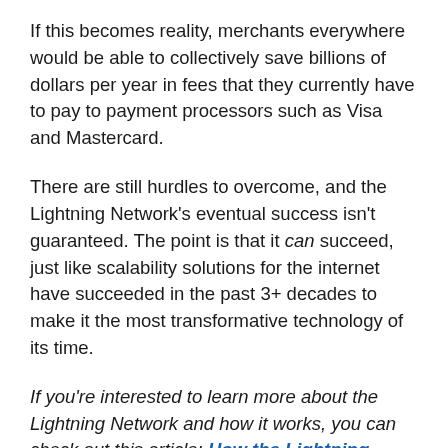If this becomes reality, merchants everywhere would be able to collectively save billions of dollars per year in fees that they currently have to pay to payment processors such as Visa and Mastercard.
There are still hurdles to overcome, and the Lightning Network's eventual success isn't guaranteed. The point is that it can succeed, just like scalability solutions for the internet have succeeded in the past 3+ decades to make it the most transformative technology of its time.
If you're interested to learn more about the Lightning Network and how it works, you can check out this article: How the Lightning Network Can Resolve Bitcoin's Scaling Issues.